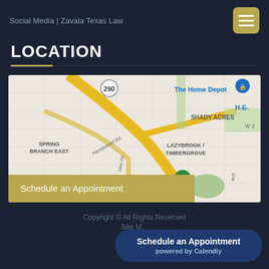Social Media | Zavala Texas Law
LOCATION
[Figure (map): Google Maps screenshot showing the Spring Branch East / Lazybrook / Timbergrove / Shady Acres area of Houston, TX near Highway 290 and Hempstead Rd. Landmarks visible: The Home Depot, Jaycee Park, H-E- (store), Siber Rd, Westview Rd, Ella Blvd.]
Schedule an Appointment
Copyright © All Rights Reserved
Site M...
Schedule an Appointment
powered by Calendly